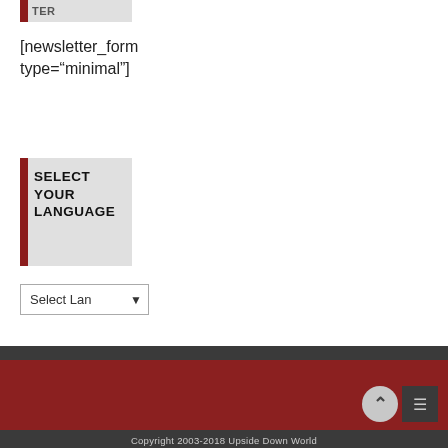[Figure (screenshot): Widget header bar with red left bar and text 'TER' in gray background]
[newsletter_form type="minimal"]
[Figure (screenshot): Widget box with red left bar and bold text 'SELECT YOUR LANGUAGE' on gray background]
[Figure (screenshot): Dropdown selector showing 'Select Lan' with a chevron arrow]
Copyright 2003-2018 Upside Down World